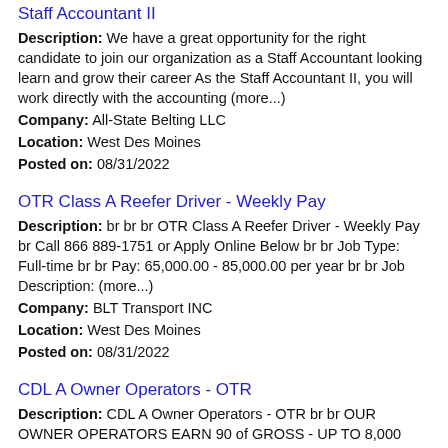Staff Accountant II
Description: We have a great opportunity for the right candidate to join our organization as a Staff Accountant looking learn and grow their career As the Staff Accountant II, you will work directly with the accounting (more...)
Company: All-State Belting LLC
Location: West Des Moines
Posted on: 08/31/2022
OTR Class A Reefer Driver - Weekly Pay
Description: br br br OTR Class A Reefer Driver - Weekly Pay br Call 866 889-1751 or Apply Online Below br br Job Type: Full-time br br Pay: 65,000.00 - 85,000.00 per year br br Job Description: (more...)
Company: BLT Transport INC
Location: West Des Moines
Posted on: 08/31/2022
CDL A Owner Operators - OTR
Description: CDL A Owner Operators - OTR br br OUR OWNER OPERATORS EARN 90 of GROSS - UP TO 8,000 PER WEEK br ul li 90
Company: Trans Quality, Inc.
Location: West Des Moines
Posted on: 08/31/2022